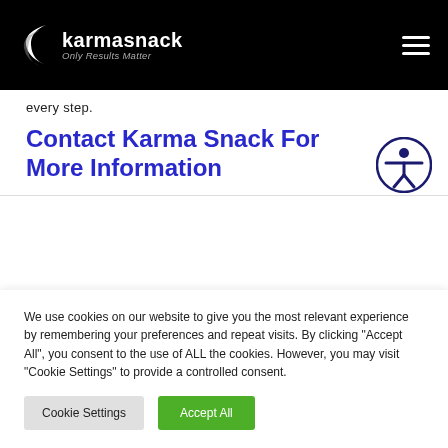karmasnack — Only Results Matter
every step.
Contact Karma Snack For More Information
We use cookies on our website to give you the most relevant experience by remembering your preferences and repeat visits. By clicking "Accept All", you consent to the use of ALL the cookies. However, you may visit "Cookie Settings" to provide a controlled consent.
Cookie Settings | Accept All